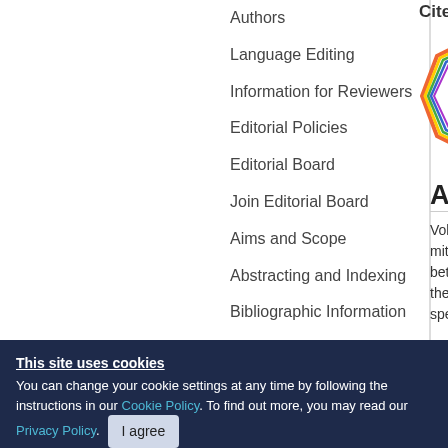Authors
Language Editing
Information for Reviewers
Editorial Policies
Editorial Board
Join Editorial Board
Aims and Scope
Abstracting and Indexing
Bibliographic Information
[Figure (infographic): Cited By badge showing the number 15 inside a colorful geometric polygon shape]
Abstra
Voltage-de mitochon between t the VDAC specific b
This site uses cookies
You can change your cookie settings at any time by following the instructions in our Cookie Policy. To find out more, you may read our Privacy Policy.